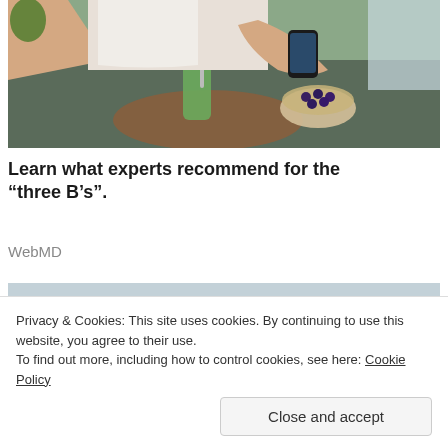[Figure (photo): Person in white tank top sitting at table, holding a green smoothie drink and a smartphone, with a bowl of blueberries nearby on a wooden board with a gray cloth]
Learn what experts recommend for the “three B’s”.
WebMD
[Figure (photo): Close-up of a person's hands and arms, partially visible, blurred background]
Privacy & Cookies: This site uses cookies. By continuing to use this website, you agree to their use.
To find out more, including how to control cookies, see here: Cookie Policy
Close and accept